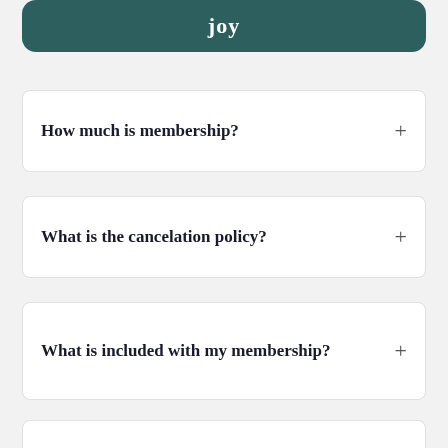joy
How much is membership?
What is the cancelation policy?
What is included with my membership?
What topics does Jodi teach on Saturday?